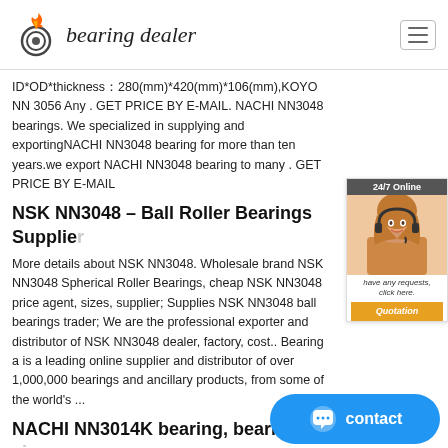bearing dealer
ID*OD*thickness：280(mm)*420(mm)*106(mm),KOYO NN 3056 Any . GET PRICE BY E-MAIL. NACHI NN3048 bearings. We specialized in supplying and exportingNACHI NN3048 bearing for more than ten years.we export NACHI NN3048 bearing to many . GET PRICE BY E-MAIL
NSK NN3048 – Ball Roller Bearings Supplier
More details about NSK NN3048. Wholesale brand NSK NN3048 Spherical Roller Bearings, cheap NSK NN3048 price agent, sizes, supplier; Supplies NSK NN3048 ball bearings trader; We are the professional exporter and distributor of NSK NN3048 dealer, factory, cost.. Bearing a is a leading online supplier and distributor of over 1,000,000 bearings and ancillary products, from some of the world's ...
NACHI NN3014K bearing, bearing size: 70mm*110mm*30mm,Best